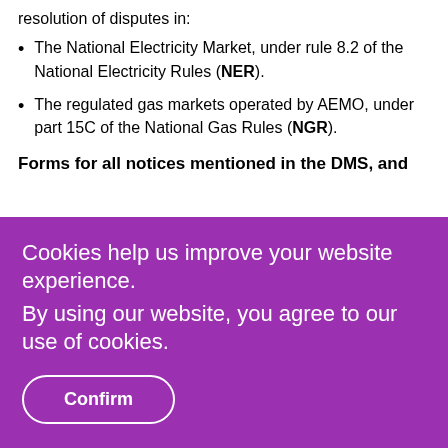resolution of disputes in:
The National Electricity Market, under rule 8.2 of the National Electricity Rules (NER).
The regulated gas markets operated by AEMO, under part 15C of the National Gas Rules (NGR).
Forms for all notices mentioned in the DMS, and
Cookies help us improve your website experience.
By using our website, you agree to our use of cookies.
Confirm